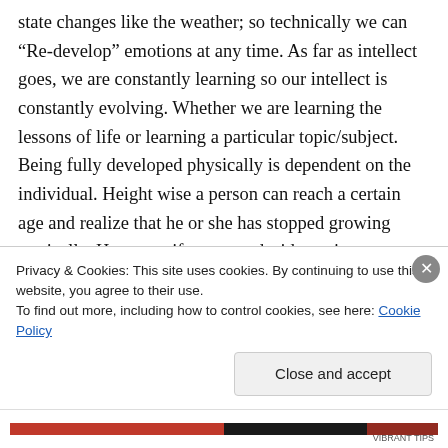state changes like the weather; so technically we can “Re-develop” emotions at any time. As far as intellect goes, we are constantly learning so our intellect is constantly evolving. Whether we are learning the lessons of life or learning a particular topic/subject. Being fully developed physically is dependent on the individual. Height wise a person can reach a certain age and realize that he or she has stopped growing vertically. However, if a person decides to increase muscle strength or size and does, then
Privacy & Cookies: This site uses cookies. By continuing to use this website, you agree to their use.
To find out more, including how to control cookies, see here: Cookie Policy
Close and accept